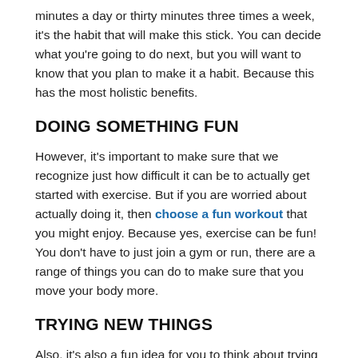minutes a day or thirty minutes three times a week, it's the habit that will make this stick. You can decide what you're going to do next, but you will want to know that you plan to make it a habit. Because this has the most holistic benefits.
DOING SOMETHING FUN
However, it's important to make sure that we recognize just how difficult it can be to actually get started with exercise. But if you are worried about actually doing it, then choose a fun workout that you might enjoy. Because yes, exercise can be fun! You don't have to just join a gym or run, there are a range of things you can do to make sure that you move your body more.
TRYING NEW THINGS
Also, it's also a fun idea for you to think about trying new things. It's easy to think that you have to just do basic exercise, but you can dance or play tennis or try boxing.